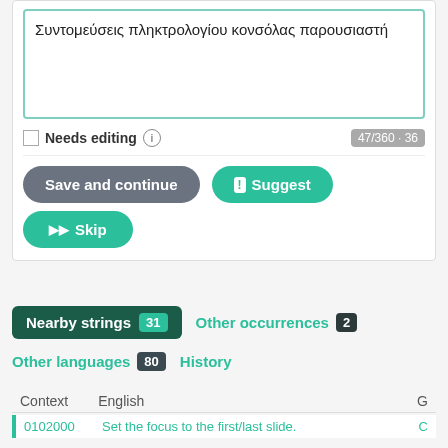Συντομεύσεις πληκτρολογίου κονσόλας παρουσιαστή
Needs editing  47/360 · 36
Save and continue
Suggest
Skip
Nearby strings 31
Other occurrences 2
Other languages 80
History
| Context | English | G |
| --- | --- | --- |
| 0102000 | Set the focus to the first/last slide. | C |